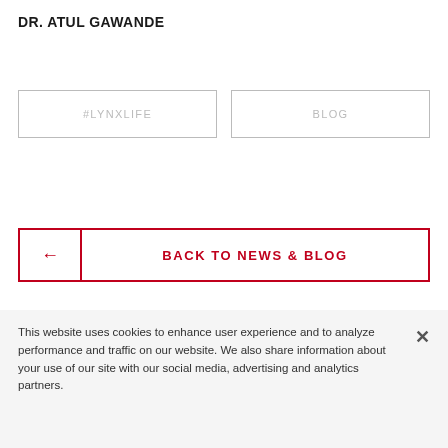DR. ATUL GAWANDE
#LYNXLIFE
BLOG
← BACK TO NEWS & BLOG
This website uses cookies to enhance user experience and to analyze performance and traffic on our website. We also share information about your use of our site with our social media, advertising and analytics partners.